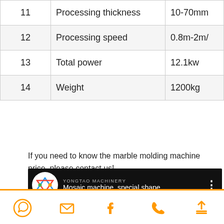| # | Parameter | Value |
| --- | --- | --- |
| 11 | Processing thickness | 10-70mm |
| 12 | Processing speed | 0.8m-2m/ |
| 13 | Total power | 12.1kw |
| 14 | Weight | 1200kg |
If you need to know the marble molding machine price, please contact us!
[Figure (screenshot): Yongtao Machinery YouTube video bar showing 'Mosaic machine, special shaped ...' with logo and three-dot menu]
[Figure (infographic): Bottom navigation bar with orange icons: WhatsApp, email, Facebook, phone, upload/contact]